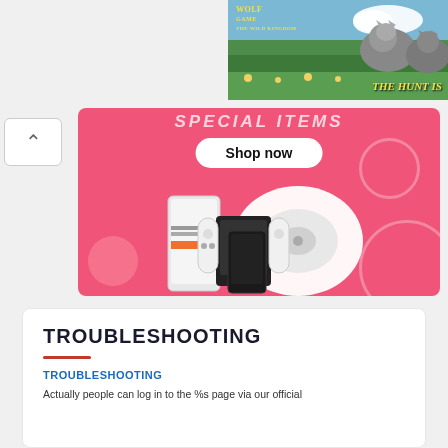[Figure (photo): Wolf Game: The Wild Kingdom advertisement banner showing wolves in a natural setting with text 'THE HUNT IS' visible]
[Figure (screenshot): Pink shopping banner with 'Shop now' button and products including a robot vacuum, Nintendo Switch OLED, and a smartphone]
TROUBLESHOOTING
TROUBLESHOOTING
Actually people can log in to the %s page via our official